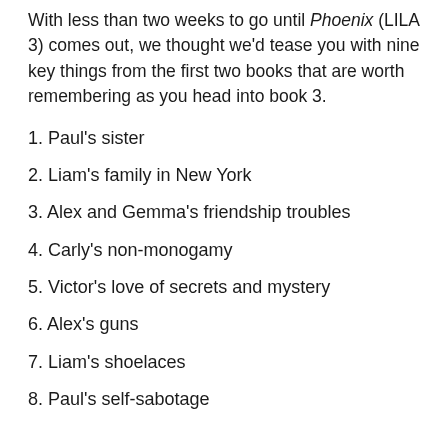With less than two weeks to go until Phoenix (LILA 3) comes out, we thought we'd tease you with nine key things from the first two books that are worth remembering as you head into book 3.
1. Paul's sister
2. Liam's family in New York
3. Alex and Gemma's friendship troubles
4. Carly's non-monogamy
5. Victor's love of secrets and mystery
6. Alex's guns
7. Liam's shoelaces
8. Paul's self-sabotage